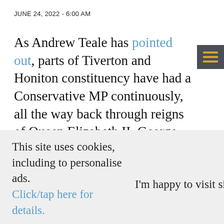JUNE 24, 2022 - 6:00 AM
As Andrew Teale has pointed out, parts of Tiverton and Honiton constituency have had a Conservative MP continuously, all the way back through reigns of Queen Elizabeth II, George VI, Edward VIII, George V, Edward VII, Victoria, William IV and a couple of years on top of that too.
This site uses cookies, including to personalise ads. Click/tap here for details.
I'm happy to visit site